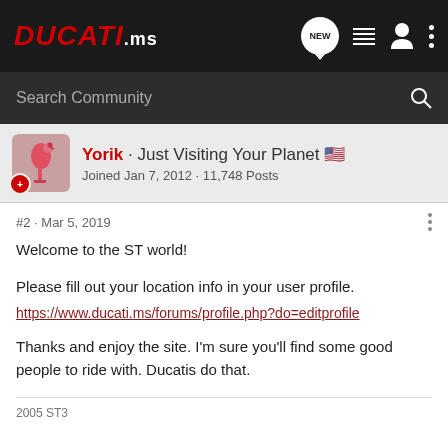DUCATI.ms
Search Community
Yorik · Just Visiting Your Planet 🇺🇸
Joined Jan 7, 2012 · 11,748 Posts
#2 · Mar 5, 2019
Welcome to the ST world!

Please fill out your location info in your user profile.
https://www.ducati.ms/forums/profile.php?do=editprofile

Thanks and enjoy the site. I'm sure you'll find some good people to ride with. Ducatis do that.
2005 ST3